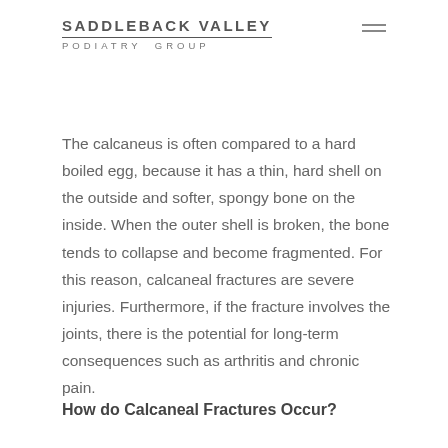SADDLEBACK VALLEY PODIATRY GROUP
The calcaneus is often compared to a hard boiled egg, because it has a thin, hard shell on the outside and softer, spongy bone on the inside. When the outer shell is broken, the bone tends to collapse and become fragmented. For this reason, calcaneal fractures are severe injuries. Furthermore, if the fracture involves the joints, there is the potential for long-term consequences such as arthritis and chronic pain.
How do Calcaneal Fractures Occur?